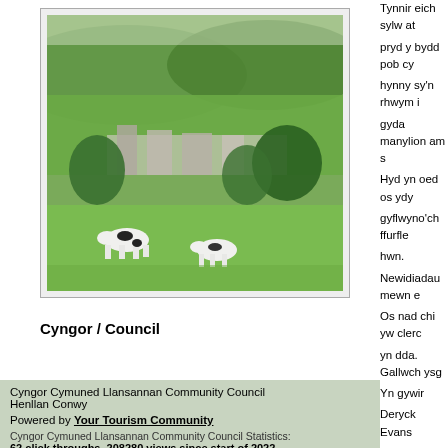[Figure (photo): Rural Welsh countryside scene with cows grazing on green fields, village buildings in background, rolling hills and trees.]
Cyngor / Council
Cyngor Cymuned Llansannan Community Council
Henllan Conwy
Powered by Your Tourism Community
Cyngor Cymuned Llansannan Community Council Statistics:
62 click throughs, 208280 views since start of 2022
Tynnir eich sylw at pryd y bydd pob cy hynny sy'n rhwym i gyda manylion am s Hyd yn oed os ydy gyflwyno'ch ffurfle hwn.
Newidiadau mewn e
Os nad chi yw clerc yn dda. Gallwch ysg
Yn gywir
Deryck Evans
Deryck Evans
Rheolwr
Ar gyfer ac ar ran A &#8195;
Atodiad 1 – Y cama
Cwblhau'r ffurflen 1
Dylech lenwi'r ffur archwilydd mewnol chymeradwyo. Byd gynghorau lleol ng
Yna, rhaid i'r Swyd Mehefin a rhaid i'r a Mehefin. Ni chaiff s